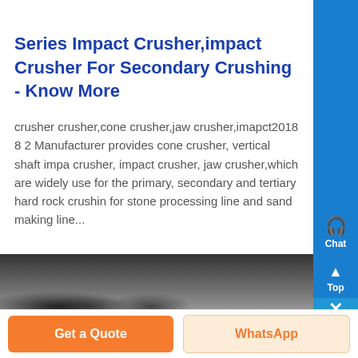Series Impact Crusher,impact Crusher For Secondary Crushing - Know More
crusher crusher,cone crusher,jaw crusher,imapct2018 8 2 Manufacturer provides cone crusher, vertical shaft impa crusher, impact crusher, jaw crusher,which are widely use for the primary, secondary and tertiary hard rock crushin for stone processing line and sand making line...
[Figure (photo): Photograph of an impact crusher machine component, showing grey metallic parts close-up]
Get a Quote
WhatsApp